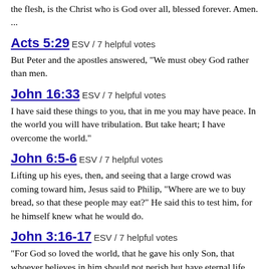the flesh, is the Christ who is God over all, blessed forever. Amen. ...
Acts 5:29 ESV / 7 helpful votes
But Peter and the apostles answered, “We must obey God rather than men.
John 16:33 ESV / 7 helpful votes
I have said these things to you, that in me you may have peace. In the world you will have tribulation. But take heart; I have overcome the world.”
John 6:5-6 ESV / 7 helpful votes
Lifting up his eyes, then, and seeing that a large crowd was coming toward him, Jesus said to Philip, “Where are we to buy bread, so that these people may eat?” He said this to test him, for he himself knew what he would do.
John 3:16-17 ESV / 7 helpful votes
“For God so loved the world, that he gave his only Son, that whoever believes in him should not perish but have eternal life. For God did not send his Son into the world to condemn the world, but in order that the world might be saved through him.